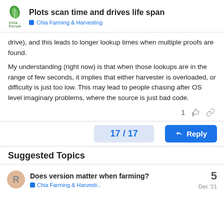Plots scan time and drives life span — Chia Farming & Harvesting
drive), and this leads to longer lookup times when multiple proofs are found.
My understanding (right now) is that when those lookups are in the range of few seconds, it implies that either harvester is overloaded, or difficulty is just too low. This may lead to people chasing after OS level imaginary problems, where the source is just bad code.
1 [like] [link]
17 / 17
Reply
Suggested Topics
Does version matter when farming?
Chia Farming & Harvesti...
Dec '21
5